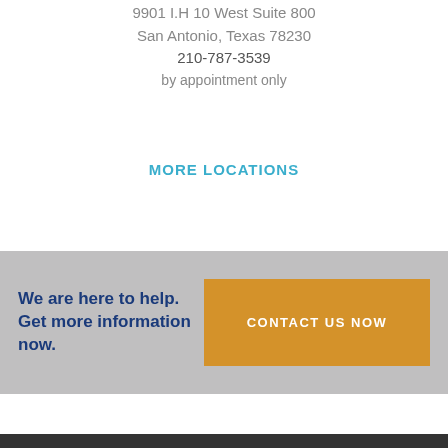9901 I.H 10 West Suite 800
San Antonio, Texas 78230
210-787-3539
by appointment only
MORE LOCATIONS
We are here to help. Get more information now.
CONTACT US NOW